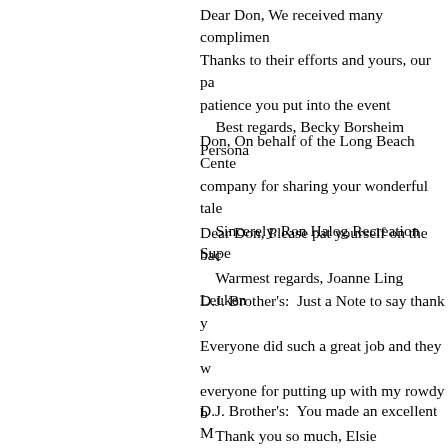Dear Don, We received many compliments. Thanks to their efforts and yours, our patience you put into the event
    Best regards, Becky Borsheim Persona
Don, On behalf of the Long Beach Center company for sharing your wonderful tale
    Sincerely, Ron Halog Recreation Supe
Dear Don, Please pat yourself on the back
    Warmest regards, Joanne Ling Leuken
D.J. Brother's:  Just a Note to say thank you Everyone did such a great job and they everyone for putting up with my rowdy b
    Thank you so much, Elsie
D.J. Brother's:  You made an excellent M played resulted in our receiving many m